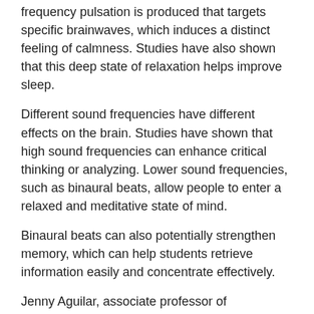frequency pulsation is produced that targets specific brainwaves, which induces a distinct feeling of calmness. Studies have also shown that this deep state of relaxation helps improve sleep.
Different sound frequencies have different effects on the brain. Studies have shown that high sound frequencies can enhance critical thinking or analyzing. Lower sound frequencies, such as binaural beats, allow people to enter a relaxed and meditative state of mind.
Binaural beats can also potentially strengthen memory, which can help students retrieve information easily and concentrate effectively.
Jenny Aguilar, associate professor of psychology at California Baptist University, said certain kinds of music can be beneficial.
“Music can have wonderful effects on memory. Doctors have even used music to treat patients with Alzheimer’s and dementia because it has been shown to improve their memory, allowing them to have better focus,” Aguilar said.
Since binaural beats may enhance memory and concentration, this type of music can be beneficial when it comes to studying.